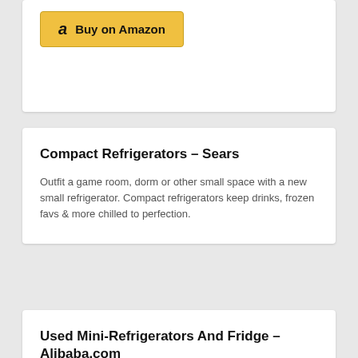[Figure (screenshot): Amazon Buy button with golden background showing 'a Buy on Amazon' text]
Compact Refrigerators – Sears
Outfit a game room, dorm or other small space with a new small refrigerator. Compact refrigerators keep drinks, frozen favs & more chilled to perfection.
Used Mini-Refrigerators And Fridge – Alibaba.com
20L Mini fridge freezer 12v Car Fridge Camping compact Refrigerator for Car & Home Use US $85.00-$100.00. 1 YR . RELATED CATEGORIES : Home … The selection of used mini fridge units on Alibaba.com includes both standard stationary models and …